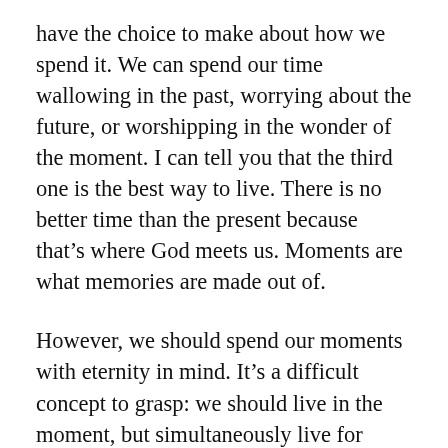have the choice to make about how we spend it. We can spend our time wallowing in the past, worrying about the future, or worshipping in the wonder of the moment. I can tell you that the third one is the best way to live. There is no better time than the present because that’s where God meets us. Moments are what memories are made out of.
However, we should spend our moments with eternity in mind. It’s a difficult concept to grasp: we should live in the moment, but simultaneously live for eternity. How does that work?